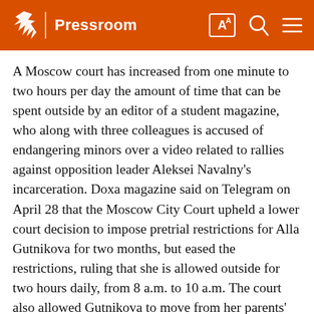/ Pressroom
A Moscow court has increased from one minute to two hours per day the amount of time that can be spent outside by an editor of a student magazine, who along with three colleagues is accused of endangering minors over a video related to rallies against opposition leader Aleksei Navalny's incarceration. Doxa magazine said on Telegram on April 28 that the Moscow City Court upheld a lower court decision to impose pretrial restrictions for Alla Gutnikova for two months, but eased the restrictions, ruling that she is allowed outside for two hours daily, from 8 a.m. to 10 a.m. The court also allowed Gutnikova to move from her parents' apartment and stay at another address.
Moscow Journalist Fined For Covering Protest Rally